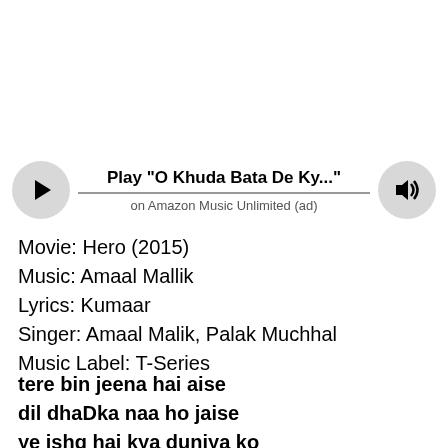[Figure (other): Music player bar with play button, track title 'Play "O Khuda Bata De Ky..."', progress line, 'on Amazon Music Unlimited (ad)' subtitle, and volume button]
Movie: Hero (2015)
Music: Amaal Mallik
Lyrics: Kumaar
Singer: Amaal Malik, Palak Muchhal
Music Label: T-Series
tere bin jeena hai aise
dil dhaDka naa ho jaise
ye ishq hai kya duniya ko
hum samjhaaye kaise
living without you,
is like the heart without a beat,